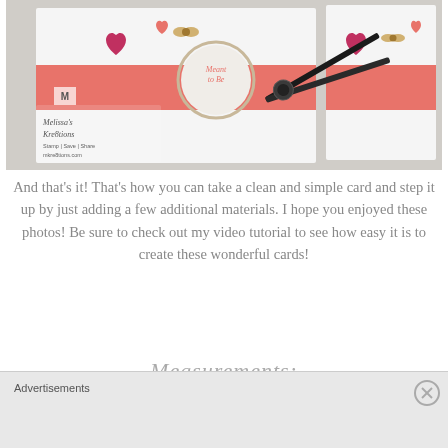[Figure (photo): Crafting photo showing handmade cards with coral/pink ribbon, heart decorations, a circular 'Meant to Be' label, and scissors on a white surface. Melissa's Kre8tions watermark visible.]
And that's it! That's how you can take a clean and simple card and step it up by just adding a few additional materials. I hope you enjoyed these photos! Be sure to check out my video tutorial to see how easy it is to create these wonderful cards!
Measurements:
Advertisements